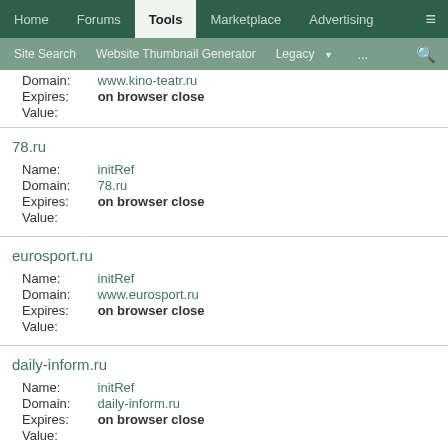Home | Forums | Tools | Marketplace | Advertising | ≡
Site Search | Website Thumbnail Generator | Legacy ▾ | ... | 🔍
Domain: www.kino-teatr.ru
Expires: on browser close
Value:
78.ru
Name: initRef
Domain: 78.ru
Expires: on browser close
Value:
eurosport.ru
Name: initRef
Domain: www.eurosport.ru
Expires: on browser close
Value:
daily-inform.ru
Name: initRef
Domain: daily-inform.ru
Expires: on browser close
Value:
daily-inform.ru
Name: initRef
Domain: 29-iz.daily-inform.ru
Expires: on browser close